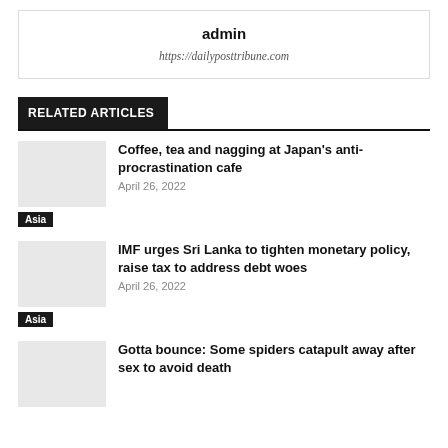admin
https://dailyposttribune.com
RELATED ARTICLES
Coffee, tea and nagging at Japan's anti-procrastination cafe
April 26, 2022
Asia
IMF urges Sri Lanka to tighten monetary policy, raise tax to address debt woes
April 26, 2022
Asia
Gotta bounce: Some spiders catapult away after sex to avoid death